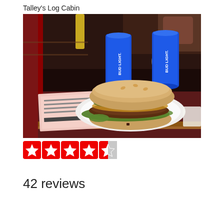Talley's Log Cabin
[Figure (photo): Photo of a large burger on a white paper plate on a dark red bar counter, with two Bud Light cans and a glass in the background, taken inside a bar.]
[Figure (infographic): 4.5 out of 5 stars rating shown as Yelp-style red star icons (4 full stars and 1 half star)]
42 reviews